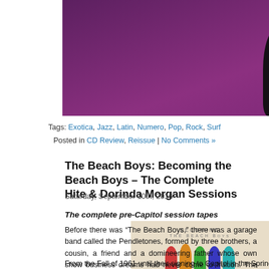[Figure (photo): Purple-toned photo strip showing silhouettes of three figures against a magenta/purple background, cropped at top of page]
Tags: Exotica, Jazz, Latin, Numero, Pop, Rock, Surf
Posted in CD Review, Reissue | No Comments »
The Beach Boys: Becoming the Beach Boys – The Complete Hite & Dorinda Morgan Sessions
Saturday, September 10th, 2016
The complete pre-Capitol session tapes
[Figure (photo): Album cover for 'Becoming the Beach Boys – The Complete Hite & Dorinda Morgan Sessions' showing colorful paper-cutout figures on a tan background]
Before there was “The Beach Boys,” there was a garage band called the Pendletones, formed by three brothers, a cousin, a friend and a domineering father whose own show business dreams had never come to fruition. The harmony vocals of the 1950s and the surf sounds of the early â60s provided the ambitious Brian Wilson stepping stones to musical immortality, and these two discs of pre-Capitol sides paint the most complete picture yet of Wilson’s first steps towards th… From the Fall of 1961 until their signing to Capitol in the Spring of 1962, th… Boys recorded nine songs for Hite and Dorinda Morgan, with “Surfin’”…